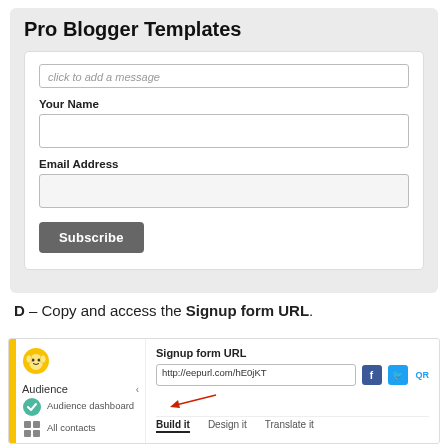Pro Blogger Templates
[Figure (screenshot): A newsletter signup form with fields for message, Your Name, Email Address, and a Subscribe button, shown on a gray background card]
D – Copy and access the Signup form URL.
[Figure (screenshot): Mailchimp interface showing Audience nav with sidebar items (Audience dashboard, All contacts), and the Signup form URL field showing http://eepurl.com/hE0jKT with social share buttons (Facebook, Twitter, QR), a red arrow pointing to the URL, and tabs: Build it, Design it, Translate it]